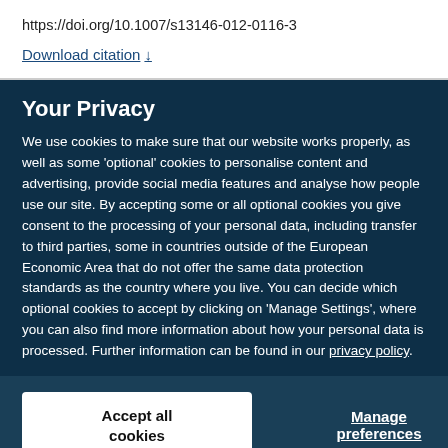https://doi.org/10.1007/s13146-012-0116-3
Download citation ↓
Your Privacy
We use cookies to make sure that our website works properly, as well as some 'optional' cookies to personalise content and advertising, provide social media features and analyse how people use our site. By accepting some or all optional cookies you give consent to the processing of your personal data, including transfer to third parties, some in countries outside of the European Economic Area that do not offer the same data protection standards as the country where you live. You can decide which optional cookies to accept by clicking on 'Manage Settings', where you can also find more information about how your personal data is processed. Further information can be found in our privacy policy.
Accept all cookies
Manage preferences